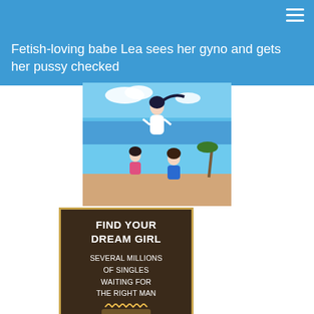Fetish-loving babe Lea sees her gyno and gets her pussy checked
[Figure (illustration): Two stacked anime-style illustrations: top panel shows an anime girl in a white dress on a beach/ocean background with blue sky; bottom panel shows anime girls on a beach in swimwear.]
[Figure (infographic): Advertisement banner with dark brown background and gold border reading 'FIND YOUR DREAM GIRL' and 'SEVERAL MILLIONS OF SINGLES WAITING FOR THE RIGHT MAN']